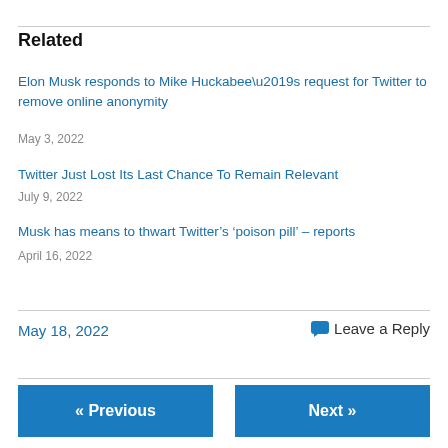Related
Elon Musk responds to Mike Huckabee’s request for Twitter to remove online anonymity
May 3, 2022
Twitter Just Lost Its Last Chance To Remain Relevant
July 9, 2022
Musk has means to thwart Twitter’s ‘poison pill’ – reports
April 16, 2022
May 18, 2022
Leave a Reply
« Previous
Next »